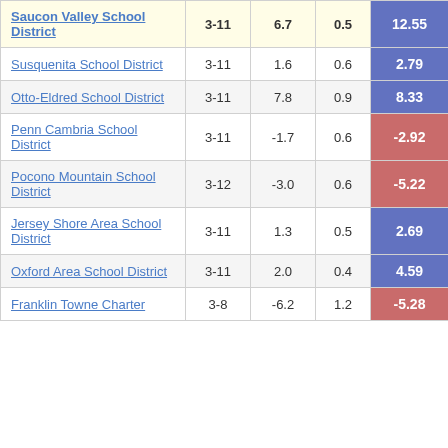| School District | Grades | Value | Metric | Score |
| --- | --- | --- | --- | --- |
| Saucon Valley School District | 3-11 | 6.7 | 0.5 | 12.55 |
| Susquenita School District | 3-11 | 1.6 | 0.6 | 2.79 |
| Otto-Eldred School District | 3-11 | 7.8 | 0.9 | 8.33 |
| Penn Cambria School District | 3-11 | -1.7 | 0.6 | -2.92 |
| Pocono Mountain School District | 3-12 | -3.0 | 0.6 | -5.22 |
| Jersey Shore Area School District | 3-11 | 1.3 | 0.5 | 2.69 |
| Oxford Area School District | 3-11 | 2.0 | 0.4 | 4.59 |
| Franklin Towne Charter | 3-8 | -6.2 | 1.2 | -5.28 |